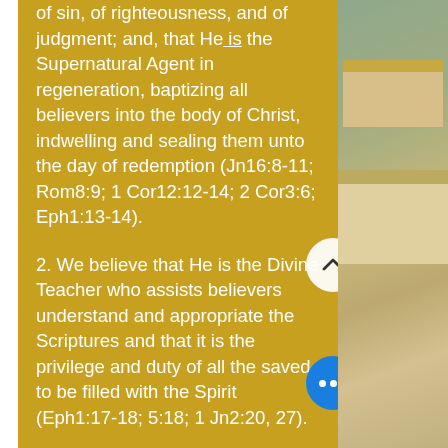of sin, of righteousness, and of judgment; and, that He is the Supernatural Agent in regeneration, baptizing all believers into the body of Christ, indwelling and sealing them unto the day of redemption (Jn16:8-11; Rom8:9; 1 Cor12:12-14; 2 Cor3:6; Eph1:13-14).
2. We believe that He is the Divine Teacher who assists believers understand and appropriate the Scriptures and that it is the privilege and duty of all the saved to be filled with the Spirit (Eph1:17-18; 5:18; 1 Jn2:20, 27).
3. We believe that God is
[Figure (photo): Outdoor photo showing building rooftops and desert/arid vegetation in background, partially visible on right side of page]